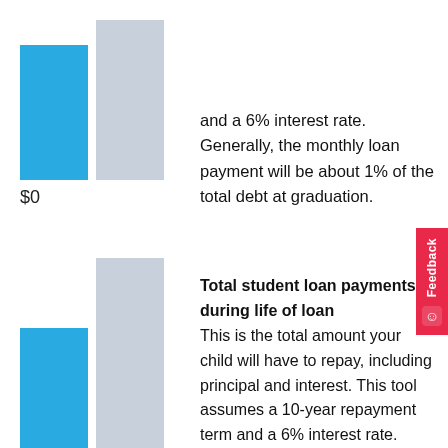[Figure (bar-chart): Two bars: blue (shorter) and gray (taller), with $0 label below]
and a 6% interest rate. Generally, the monthly loan payment will be about 1% of the total debt at graduation.
[Figure (bar-chart): Two bars: gray (taller) and blue (shorter)]
Total student loan payments during life of loan
This is the total amount your child will have to repay, including principal and interest. This tool assumes a 10-year repayment term and a 6% interest rate.